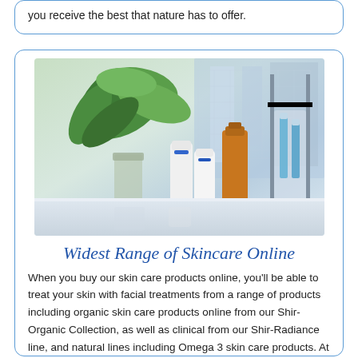you receive the best that nature has to offer.
[Figure (photo): Laboratory setting with skincare bottles, an amber bottle, white bottles with blue caps, green plant, and scientific glassware with blue liquid on a metal stand, against a blurred lab background.]
Widest Range of Skincare Online
When you buy our skin care products online, you'll be able to treat your skin with facial treatments from a range of products including organic skin care products online from our Shir-Organic Collection, as well as clinical from our Shir-Radiance line, and natural lines including Omega 3 skin care products. At Shira, we offer the platform to conveniently buy